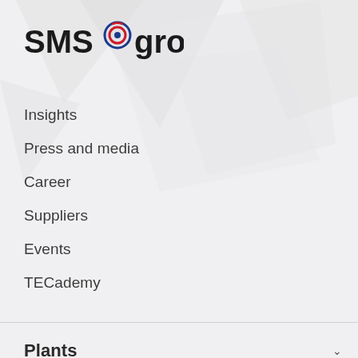[Figure (logo): SMS group logo with circular target icon in red and blue]
Insights
Press and media
Career
Suppliers
Events
TECademy
Plants
Services